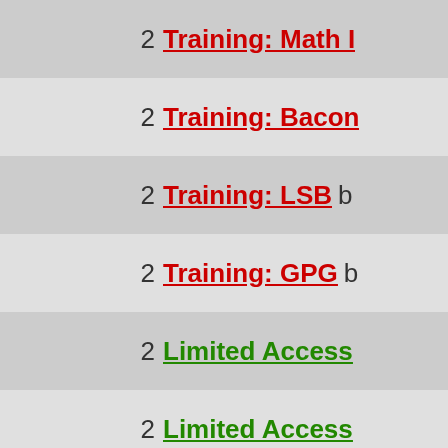2 Training: Math I
2 Training: Bacon
2 Training: LSB b
2 Training: GPG b
2 Limited Access
2 Limited Access
2 Shadowlamb - C
2 Training: Warch
2 Repeating Histo
2 PHP My Admin
2 Training: Caterp
2 AUTH me by Giz